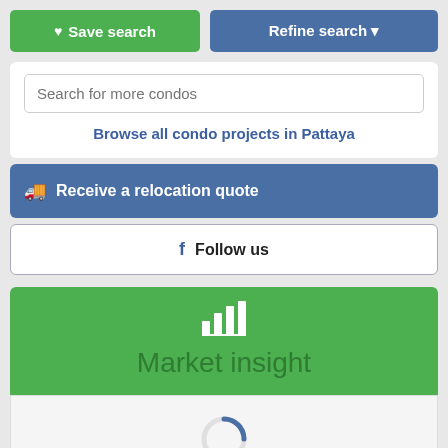Save search
Refine search
Search for more condos
Browse all condo projects in Pattaya
Receive a relocation quote
Follow us
Market insight
[Figure (other): Loading spinner circle indicator]